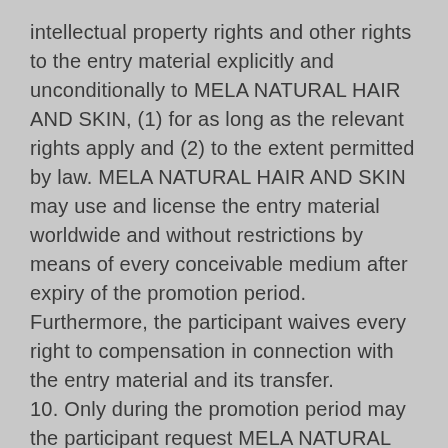intellectual property rights and other rights to the entry material explicitly and unconditionally to MELA NATURAL HAIR AND SKIN, (1) for as long as the relevant rights apply and (2) to the extent permitted by law. MELA NATURAL HAIR AND SKIN may use and license the entry material worldwide and without restrictions by means of every conceivable medium after expiry of the promotion period. Furthermore, the participant waives every right to compensation in connection with the entry material and its transfer. 10. Only during the promotion period may the participant request MELA NATURAL HAIR AND SKIN to remove his entry material, following which the relevant entry material will be removed